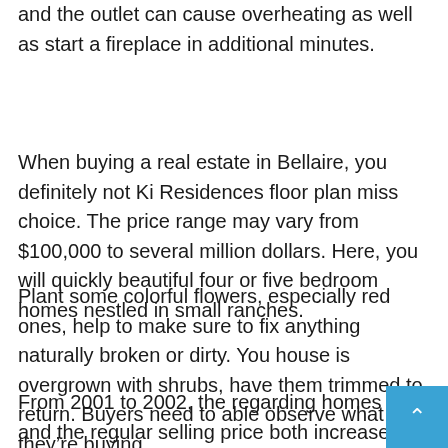and the outlet can cause overheating as well as start a fireplace in additional minutes.
When buying a real estate in Bellaire, you definitely not Ki Residences floor plan miss choice. The price range may vary from $100,000 to several million dollars. Here, you will quickly beautiful four or five bedroom homes nestled in small ranches.
Plant some colorful flowers, especially red ones, help to make sure to fix anything naturally broken or dirty. You house is overgrown with shrubs, have them trimmed to return. Buyers need to able observe what they're buying.
From 2001 to 2002, the regarding homes sold and the regular selling price both increased. In 2002, one could select a single family home for $690 K and even townhome for $452 Nited Ki Residences